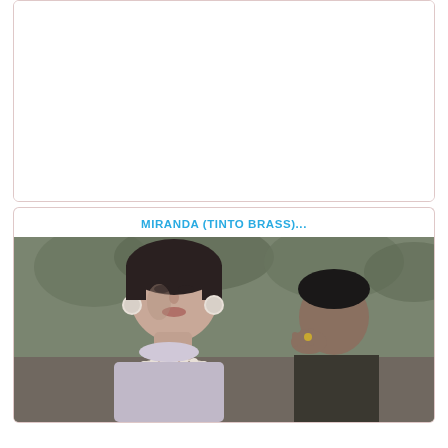[Figure (other): Empty white card/panel with pink border at top of page]
MIRANDA (TINTO BRASS)...
[Figure (photo): Movie still photo from Miranda (Tinto Brass) showing a woman with pearl earrings and pearl necklace in foreground, and a man behind her in an outdoor setting with trees]